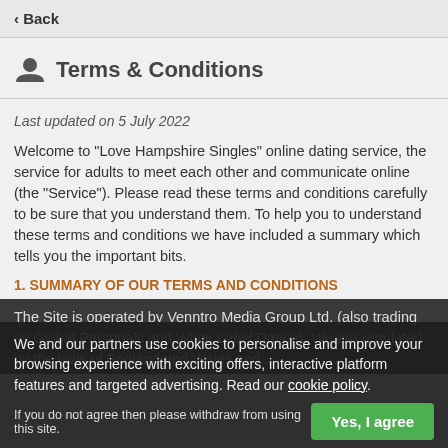‹ Back
Terms & Conditions
Last updated on 5 July 2022
Welcome to "Love Hampshire Singles" online dating service, the service for adults to meet each other and communicate online (the "Service"). Please read these terms and conditions carefully to be sure that you understand them. To help you to understand these terms and conditions we have included a summary which tells you the important bits.
1. SUMMARY OF OUR TERMS AND CONDITIONS
We and our partners use cookies to personalise and improve your browsing experience with exciting offers, interactive platform features and targeted advertising. Read our cookie policy.
If you do not agree then please withdraw from using this site.
The Site is operated by Venntro Media Group Ltd. (also trading as Global Personals and White Label Dating). We are regulated by the laws of England and Wales and...